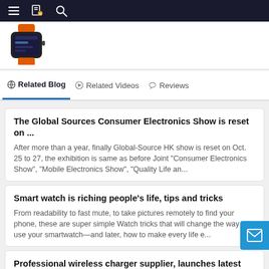Navigation bar with menu, bookmark, and search icons
[Figure (photo): Orange and black smartwatch product image]
Related Blog | Related Videos | Reviews
The Global Sources Consumer Electronics Show is reset on ...
After more than a year, finally Global-Source HK show is reset on Oct. 25 to 27, the exhibition is same as before Joint "Consumer Electronics Show", "Mobile Electronics Show", "Quality Life an...
Smart watch is riching people's life, tips and tricks
From readability to fast mute, to take pictures remotely to find your phone, these are super simple Watch tricks that will change the way you use your smartwatch—and later, how to make every life e...
Professional wireless charger supplier, launches latest amaz...
W29 Foldable multi-function 15W fast wireless charger dock Support: iPhone8-12, Samsung or other Android phone, Apple Watch, AirPods, Samsung Galaxy Earbuds ect. Selling points: 1, The special is w...